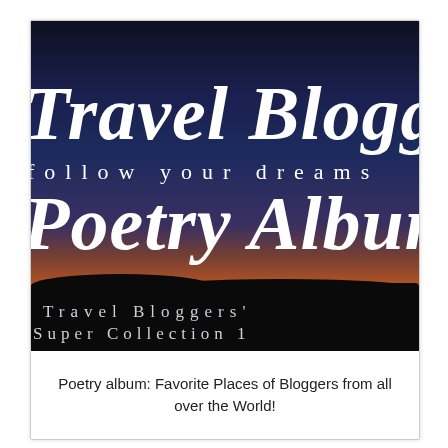[Figure (photo): Book cover image for 'Travel Bloggers' Poetry Album — Follow your dreams'. The image shows large bold white italic text 'Travel Bloggers' and 'Poetry Album' on a dark navy background at the top, with a spaced-letter subtitle 'follow your dreams'. Below is a sunset/dusk landscape photograph with gradients of dark blue sky fading into orange and red near the horizon, with a black silhouette of a flat landscape. At the bottom of the image, white spaced text reads 'Travel Bloggers' Super Collection 1'.]
Poetry album: Favorite Places of Bloggers from all over the World!